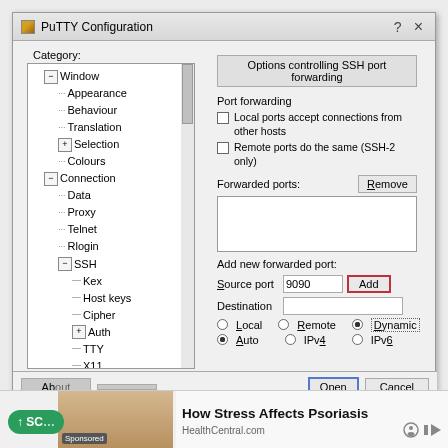[Figure (screenshot): PuTTY Configuration dialog window showing SSH port forwarding options. Left panel has a tree with Window (Appearance, Behaviour, Translation, Selection, Colours), Connection (Data, Proxy, Telnet, Rlogin, SSH with sub-items Kex, Host keys, Cipher, Auth, TTY, X11, Tunnels, Bugs, More bugs), Serial. Right panel shows 'Options controlling SSH port forwarding' with checkboxes, forwarded ports listbox, source port 9090 input, Add button (red border), Destination input, and radio buttons for Local/Remote/Dynamic and Auto/IPv4/IPv6.]
[Figure (infographic): Advertisement bar at bottom: green 'SCROLL' button on left, woman image, ad for 'How Stress Affects Psoriasis' from HealthCentral.com with Sponsored label and media icons.]